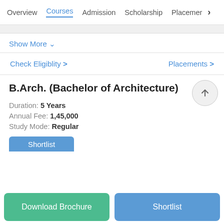Overview | Courses | Admission | Scholarship | Placement >
Show More
Check Eligiblity > | Placements >
B.Arch. (Bachelor of Architecture)
Duration: 5 Years
Annual Fee: 1,45,000
Study Mode: Regular
Shortlist
Download Brochure
Shortlist